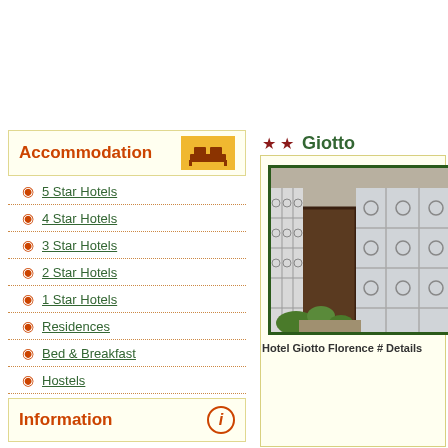Accommodation
5 Star Hotels
4 Star Hotels
3 Star Hotels
2 Star Hotels
1 Star Hotels
Residences
Bed & Breakfast
Hostels
Campings
Information
★ ★ Giotto
[Figure (photo): Exterior photo of Hotel Giotto Florence showing ornate white ironwork windows and wooden door entrance with green plants]
Hotel Giotto Florence # Details